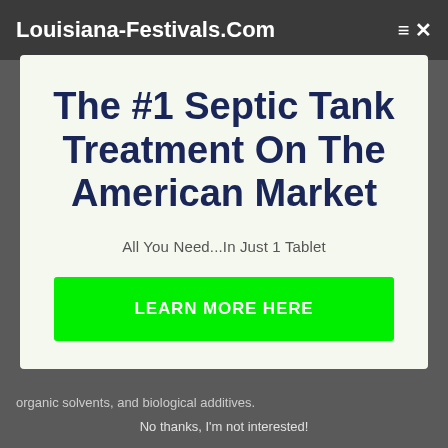Louisiana-Festivals.Com
The #1 Septic Tank Treatment On The American Market
All You Need...In Just 1 Tablet
LEARN MORE HERE
organic solvents, and biological additives.
No thanks, I'm not interested!